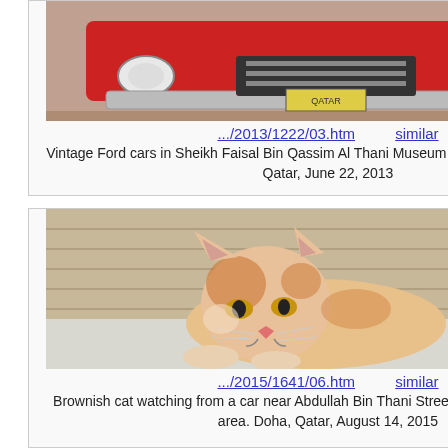[Figure (photo): Top portion of a vintage Ford car (red), showing headlights and bumper area, inside Sheikh Faisal Bin Qassim Al Thani Museum]
.../2013/1222/03.htm    similar
Vintage Ford cars in Sheikh Faisal Bin Qassim Al Thani Museum near Al-Shahaniya. Doha, Qatar, June 22, 2013
[Figure (photo): A brownish/orange and white cat resting, looking sideways, photographed near a car in Musheirib area, Doha, Qatar]
.../2015/1641/06.htm    similar
Brownish cat watching from a car near Abdullah Bin Thani Street in Musheirib (Msheireb) area. Doha, Qatar, August 14, 2015